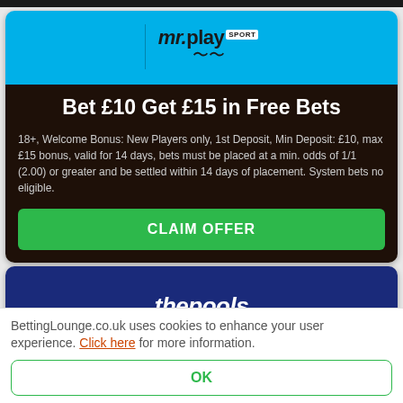[Figure (logo): mr.play SPORT logo with mustache icon on cyan/blue background]
Bet £10 Get £15 in Free Bets
18+, Welcome Bonus: New Players only, 1st Deposit, Min Deposit: £10, max £15 bonus, valid for 14 days, bets must be placed at a min. odds of 1/1 (2.00) or greater and be settled within 14 days of placement. System bets no eligible.
CLAIM OFFER
[Figure (logo): thepools logo in white italic text on dark navy blue background]
BettingLounge.co.uk uses cookies to enhance your user experience. Click here for more information.
OK